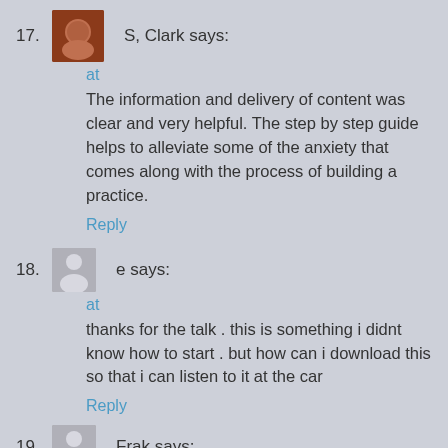17. S, Clark says:
at
The information and delivery of content was clear and very helpful. The step by step guide helps to alleviate some of the anxiety that comes along with the process of building a practice.
Reply
18. e says:
at
thanks for the talk . this is something i didnt know how to start . but how can i download this so that i can listen to it at the car
Reply
19. Frak says: